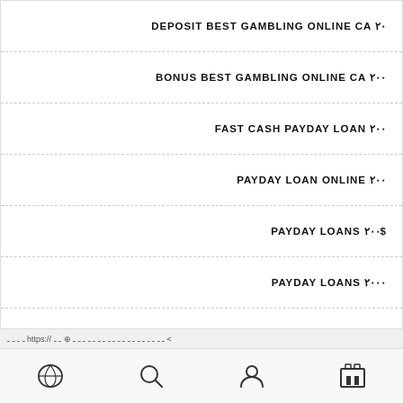DEPOSIT BEST GAMBLING ONLINE CA ۲۰
BONUS BEST GAMBLING ONLINE CA ۲۰۰
FAST CASH PAYDAY LOAN ۲۰۰
PAYDAY LOAN ONLINE ۲۰۰
PAYDAY LOANS ۲۰۰$
PAYDAY LOANS ۲۰۰۰
PAYDAY LOANS ۷ ۲۴
TITLE LOANS ...